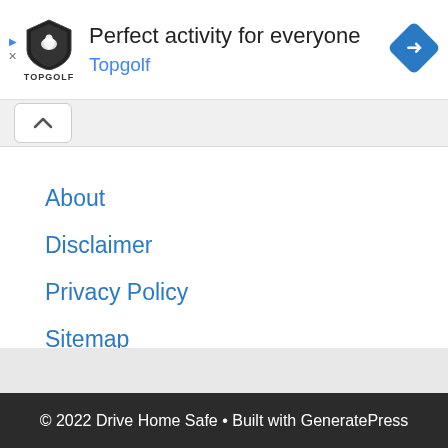[Figure (other): Topgolf advertisement banner with logo, headline 'Perfect activity for everyone', subline 'Topgolf', and blue navigation arrow icon]
About
Disclaimer
Privacy Policy
Sitemap
Contact
© 2022 Drive Home Safe • Built with GeneratePress